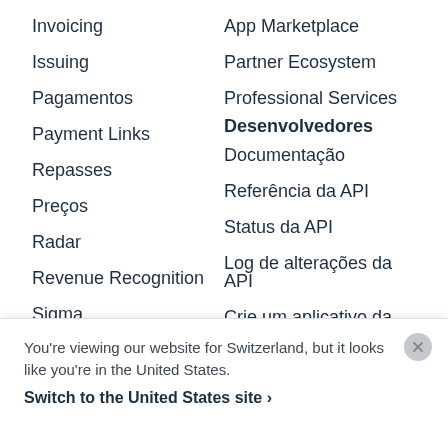Invoicing
Issuing
Pagamentos
Payment Links
Repasses
Preços
Radar
Revenue Recognition
Sigma
Tax
Terminal
Treasury
App Marketplace
Partner Ecosystem
Professional Services
Desenvolvedores
Documentação
Referência da API
Status da API
Log de alterações da API
Crie um aplicativo da Stripe
You're viewing our website for Switzerland, but it looks like you're in the United States.
Switch to the United States site ›